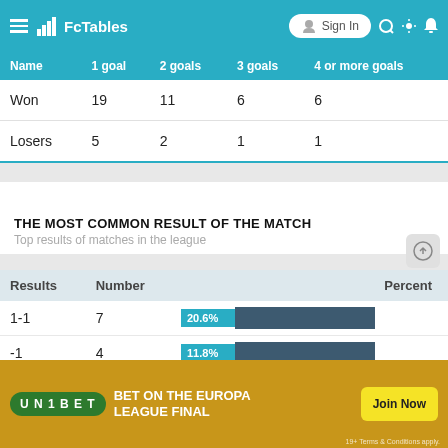FcTables — Sign In
| Name | 1 goal | 2 goals | 3 goals | 4 or more goals |
| --- | --- | --- | --- | --- |
| Won | 19 | 11 | 6 | 6 |
| Losers | 5 | 2 | 1 | 1 |
THE MOST COMMON RESULT OF THE MATCH
Top results of matches in the league
| Results | Number | Percent |
| --- | --- | --- |
| 1-1 | 7 | 20.6% |
| -1 | 4 | 11.8% |
[Figure (other): Unibet advertisement banner: BET ON THE EUROPA LEAGUE FINAL — Join Now button, 19+ Terms & Conditions apply]